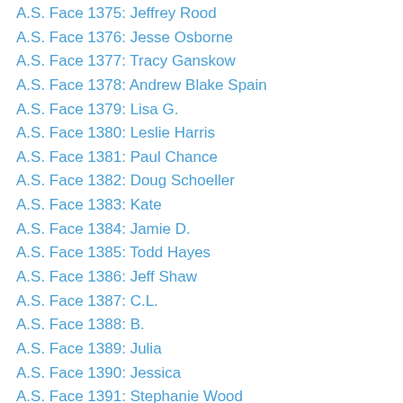A.S. Face 1375: Jeffrey Rood
A.S. Face 1376: Jesse Osborne
A.S. Face 1377: Tracy Ganskow
A.S. Face 1378: Andrew Blake Spain
A.S. Face 1379: Lisa G.
A.S. Face 1380: Leslie Harris
A.S. Face 1381: Paul Chance
A.S. Face 1382: Doug Schoeller
A.S. Face 1383: Kate
A.S. Face 1384: Jamie D.
A.S. Face 1385: Todd Hayes
A.S. Face 1386: Jeff Shaw
A.S. Face 1387: C.L.
A.S. Face 1388: B.
A.S. Face 1389: Julia
A.S. Face 1390: Jessica
A.S. Face 1391: Stephanie Wood
A.S. Face 1392: Julie Cooper
A.S. Face 1393: Korey Conley
A.S. Face 1394: Kandi Bussey